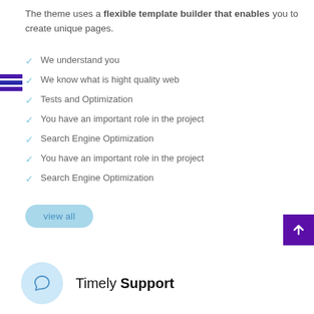The theme uses a flexible template builder that enables you to create unique pages.
We understand you
We know what is hight quality web
Tests and Optimization
You have an important role in the project
Search Engine Optimization
You have an important role in the project
Search Engine Optimization
view all
Timely Support